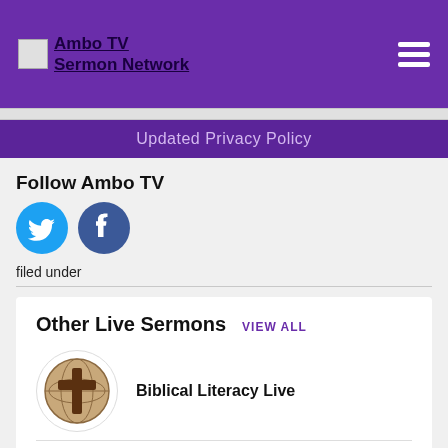Ambo TV Sermon Network
Updated Privacy Policy
Follow Ambo TV
[Figure (illustration): Twitter and Facebook social media icon buttons]
filed under
Other Live Sermons  VIEW ALL
[Figure (logo): Biblical Literacy Live logo - circular icon with cross and globe symbol]
Biblical Literacy Live
[Figure (logo): Higher Vision Live logo - circular dark blue icon with figure]
Higher Vision Live